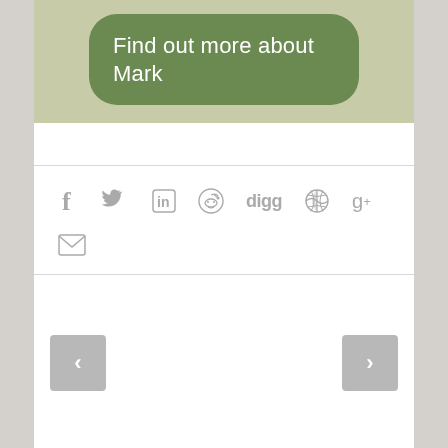[Figure (screenshot): Green rounded button with text 'Find out more about Mark' on a light olive/khaki background banner]
[Figure (infographic): Row of social media sharing icons: Facebook (f), Twitter (bird), LinkedIn (in), Reddit (alien), Digg (text), globe/web icon, Google+ (g+), and below them an email/envelope icon, all in gray]
[Figure (infographic): Navigation previous/next buttons: left arrow button on left side, right arrow button on right side, both gray rounded squares]